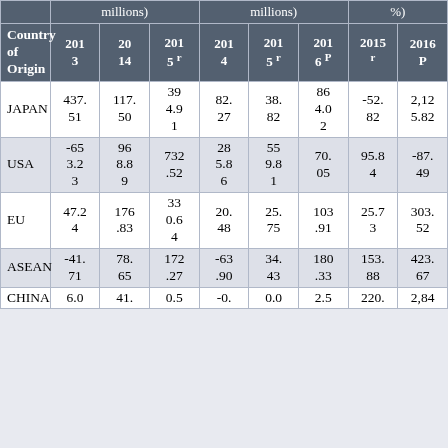| Country of Origin | 2013 | 2014 | 2015r | 2014 | 2015r | 2016P | 2015r | 2016P |
| --- | --- | --- | --- | --- | --- | --- | --- | --- |
| JAPAN | 437.51 | 117.50 | 394.91 | 82.27 | 38.82 | 864.02 | -52.82 | 2,125.82 |
| USA | -653.23 | 968.89 | 732.52 | 285.86 | 559.81 | 70.05 | 95.84 | -87.49 |
| EU | 47.24 | 176.83 | 3320.64 | 20.48 | 25.75 | 103.91 | 25.73 | 303.52 |
| ASEAN | -41.71 | 78.65 | 172.27 | -63.90 | 34.43 | 180.33 | 153.88 | 423.67 |
| CHINA | 6.0 | 41. | 0.5 | -0. | 0.0 | 2.5 | 220. | 2,84 |